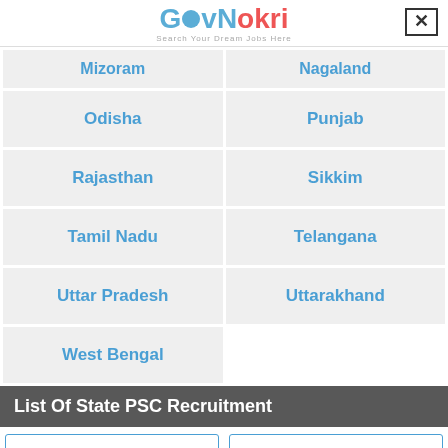[Figure (logo): GovNokri logo with tagline 'Search Your Dream Jobs Here']
| Mizoram | Nagaland |
| Odisha | Punjab |
| Rajasthan | Sikkim |
| Tamil Nadu | Telangana |
| Uttar Pradesh | Uttarakhand |
| West Bengal |  |
List Of State PSC Recruitment
| APPSC Recruitment | APSC Recruitment |
| Arunachal PSC | BPSC Recruitment |